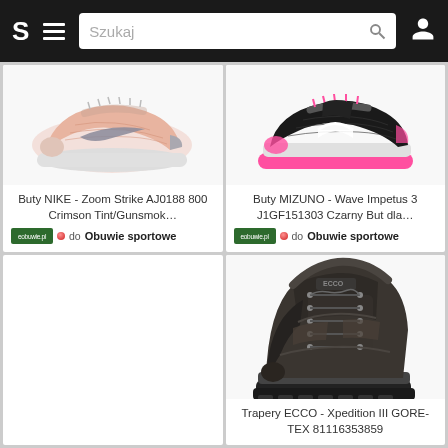[Figure (screenshot): Mobile app navigation bar with logo S, hamburger menu, search bar reading 'Szukaj', search icon, and user profile icon on dark background]
[Figure (photo): Nike Zoom Strike peach/pink running shoe on white background]
Buty NIKE - Zoom Strike AJ0188 800 Crimson Tint/Gunsmok…
eobuwie.pl • do Obuwie sportowe
[Figure (photo): Mizuno Wave Impetus 3 black and pink running shoe on white background]
Buty MIZUNO - Wave Impetus 3 J1GF151303 Czarny But dla…
eobuwie.pl • do Obuwie sportowe
[Figure (photo): ECCO Xpedition III hiking boot in dark brown/black on white background]
Trapery ECCO - Xpedition III GORE-TEX 81116353859